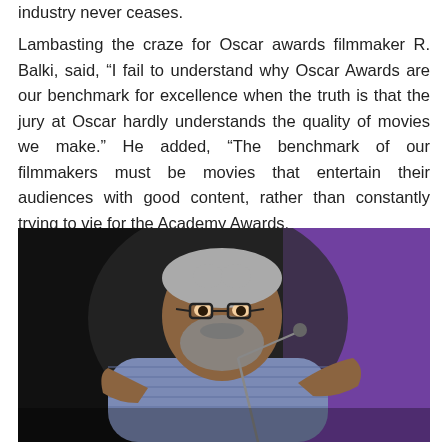industry never ceases.
Lambasting the craze for Oscar awards filmmaker R. Balki, said, “I fail to understand why Oscar Awards are our benchmark for excellence when the truth is that the jury at Oscar hardly understands the quality of movies we make.” He added, “The benchmark of our filmmakers must be movies that entertain their audiences with good content, rather than constantly trying to vie for the Academy Awards.
[Figure (photo): Photo of filmmaker R. Balki speaking at a podium with a microphone, wearing a striped shirt, with gray hair and beard and glasses. Background is dark on the left and purple on the right.]